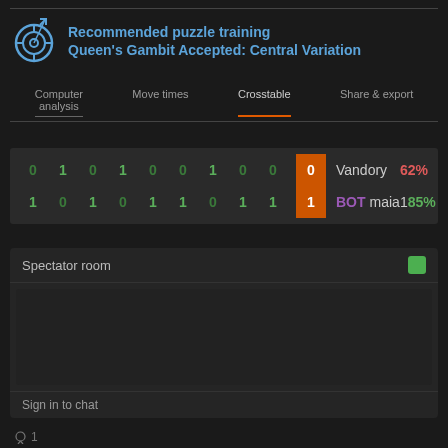Recommended puzzle training
Queen's Gambit Accepted: Central Variation
Computer analysis
Move times
Crosstable
Share & export
| Moves | Player | Score% |
| --- | --- | --- |
| 0 1 0 1 0 0 1 0 0 | 0 | Vandory | 62% |
| 1 0 1 0 1 1 0 1 1 | 1 | BOT maia1 | 85% |
Spectator room
Sign in to chat
1